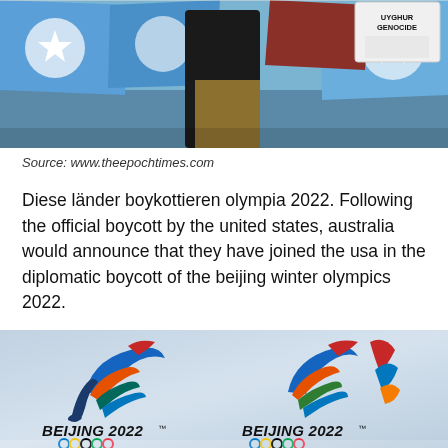[Figure (photo): Protesters holding blue East Turkestan flags and a sign reading 'UYGHUR GENOCIDE', demonstrating against the 2022 Beijing Winter Olympics boycott]
Source: www.theepochtimes.com
Diese länder boykottieren olympia 2022. Following the official boycott by the united states, australia would announce that they have joined the usa in the diplomatic boycott of the beijing winter olympics 2022.
[Figure (photo): Beijing 2022 Winter Olympics logos — two versions side by side showing the official emblem with colorful swoosh design above the text 'BEIJING 2022' and Olympic rings]